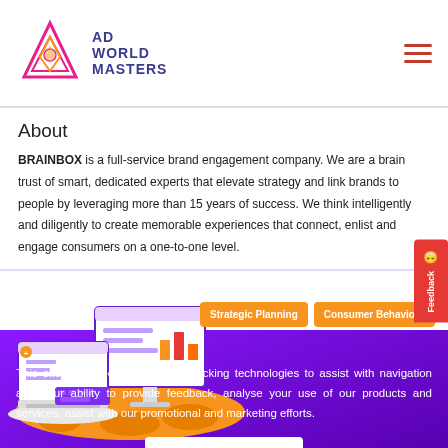[Figure (logo): Ad World Masters logo with geometric diamond/triangle shape in pink and orange, with text AD WORLD MASTERS in purple]
About
BRAINBOX is a full-service brand engagement company. We are a brain trust of smart, dedicated experts that elevate strategy and link brands to people by leveraging more than 15 years of success. We think intelligently and diligently to create memorable experiences that connect, enlist and engage consumers on a one-to-one level.
[Figure (illustration): Isometric illustration of a laptop and computer monitor on an orange platform with cookies/data icons]
Strategic Planning
Consumer Behaviour
Feedback
This site uses cookies an other tracking technologies to assist with navigation and your ability to provide feedback, analyse your use of our products and services, assist with our promotional and marketing efforts.
Accept